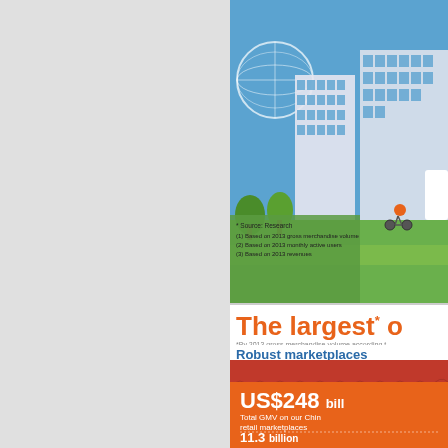[Figure (illustration): City illustration with buildings, globe structure, trees, and a person on bicycle. Blue sky and green ground background.]
* Source: Research
(1) Based on 2013 gross merchandise volume
(2) Based on 2013 monthly active users
(3) Based on 2013 revenues
The largest* o
*By 2013 gross merchandise volume according t
Robust marketplaces
[Figure (infographic): Orange marketplace building infographic showing: US$248 billion Total GMV on our China retail marketplaces; 11.3 billion Annual orders; 231 million Annual active buyers]